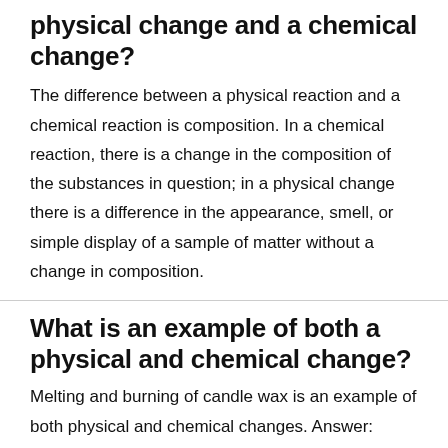physical change and a chemical change?
The difference between a physical reaction and a chemical reaction is composition. In a chemical reaction, there is a change in the composition of the substances in question; in a physical change there is a difference in the appearance, smell, or simple display of a sample of matter without a change in composition.
What is an example of both a physical and chemical change?
Melting and burning of candle wax is an example of both physical and chemical changes. Answer: Burning